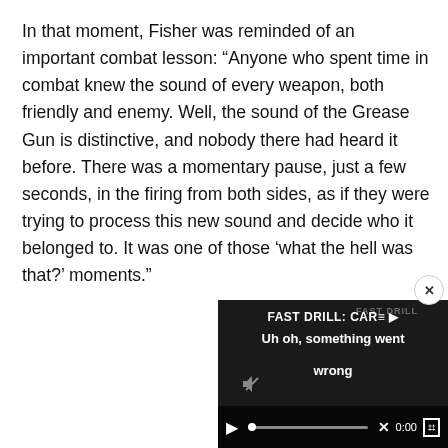In that moment, Fisher was reminded of an important combat lesson: “Anyone who spent time in combat knew the sound of every weapon, both friendly and enemy. Well, the sound of the Grease Gun is distinctive, and nobody there had heard it before. There was a momentary pause, just a few seconds, in the firing from both sides, as if they were trying to process this new sound and decide who it belonged to. It was one of those ‘what the hell was that?’ moments.”
[Figure (screenshot): Embedded video player showing error state. Title reads 'FAST DRILL: CAR' with overlay text 'FAST DRILL: CAR' and error message 'Uh oh, something went wrong'. Controls show play button, progress bar with X mark, time 0:00, and fullscreen button. Close button (x) in top-right corner.]